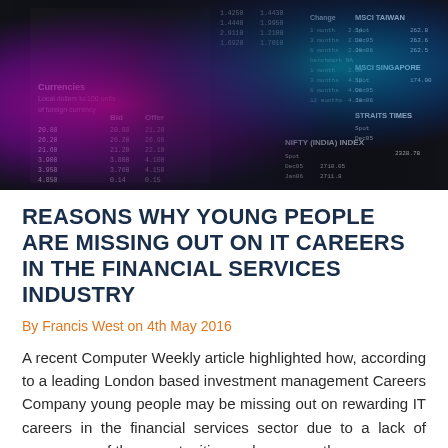[Figure (photo): Close-up photograph of financial newspaper pages showing stock market data, currency exchange rates (Bid/Offer columns), and MSCI index figures, overlaid with pink/magenta and cyan/blue light effects.]
REASONS WHY YOUNG PEOPLE ARE MISSING OUT ON IT CAREERS IN THE FINANCIAL SERVICES INDUSTRY
By Francis West on 4th May 2016
A recent Computer Weekly article highlighted how, according to a leading London based investment management Careers Company young people may be missing out on rewarding IT careers in the financial services sector due to a lack of awareness of the opportunities and career pathways.